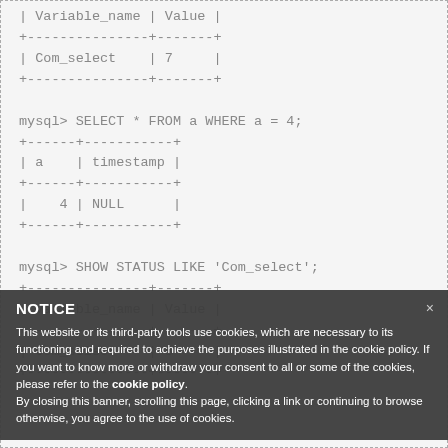| Variable_name | Value |
+---------------+-------+
| Com_select    | 7     |
+---------------+-------+

mysql> SELECT * FROM a WHERE a = 4;
+------+-----------+
| a    | timestamp |
+------+-----------+
|    4 | NULL      |
+------+-----------+

mysql> SHOW STATUS LIKE 'Com_select';
+---------------+-------+
| Variable_name | Value |
+---------------+-------+
| Com_select    | 8     |
+---------------+-------+
NOTICE
This website or its third-party tools use cookies, which are necessary to its functioning and required to achieve the purposes illustrated in the cookie policy. If you want to know more or withdraw your consent to all or some of the cookies, please refer to the cookie policy.
By closing this banner, scrolling this page, clicking a link or continuing to browse otherwise, you agree to the use of cookies.